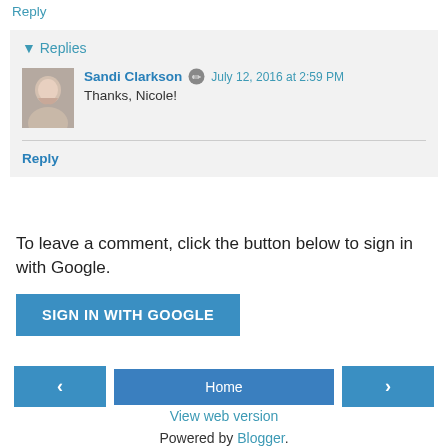Reply
▾ Replies
Sandi Clarkson  July 12, 2016 at 2:59 PM
Thanks, Nicole!
Reply
To leave a comment, click the button below to sign in with Google.
SIGN IN WITH GOOGLE
‹  Home  ›
View web version
Powered by Blogger.